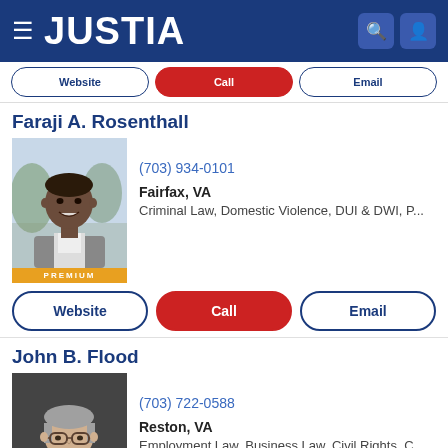JUSTIA
Website | Call | Email
Faraji A. Rosenthall
[Figure (photo): Professional headshot of Faraji A. Rosenthall, a smiling man in a grey suit, outdoors with blurred background. PREMIUM badge below.]
(703) 934-0101
Fairfax, VA
Criminal Law, Domestic Violence, DUI & DWI, P...
Website | Call | Email
John B. Flood
[Figure (photo): Professional headshot of John B. Flood, a man with grey hair and glasses in a dark suit with tie. PREMIUM badge below.]
(703) 722-0588
Reston, VA
Employment Law, Business Law, Civil Rights, C...